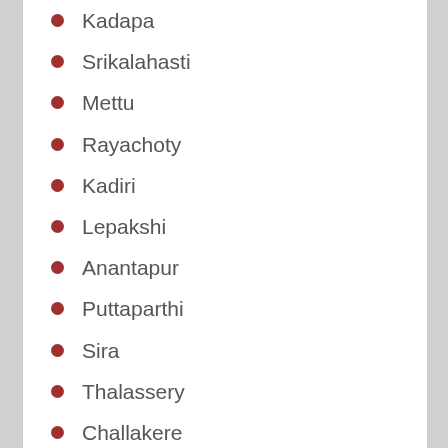Kadapa
Srikalahasti
Mettu
Rayachoty
Kadiri
Lepakshi
Anantapur
Puttaparthi
Sira
Thalassery
Challakere
Haveri
Davangere
Shimoga
Chitradurga
Ranebennur
Payyanur